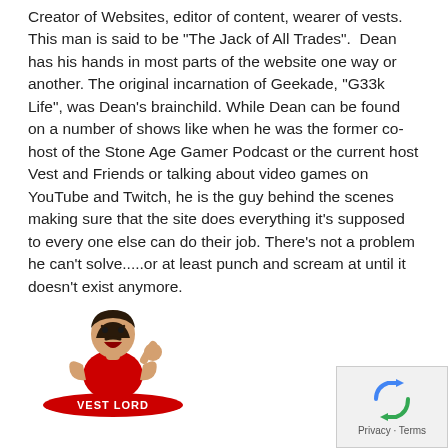Creator of Websites, editor of content, wearer of vests. This man is said to be "The Jack of All Trades". Dean has his hands in most parts of the website one way or another. The original incarnation of Geekade, "G33k Life", was Dean's brainchild. While Dean can be found on a number of shows like when he was the former co-host of the Stone Age Gamer Podcast or the current host Vest and Friends or talking about video games on YouTube and Twitch, he is the guy behind the scenes making sure that the site does everything it's supposed to every one else can do their job. There's not a problem he can't solve.....or at least punch and scream at until it doesn't exist anymore.
[Figure (illustration): Cartoon illustration of an angry man in a red shirt/vest with 'VEST LORD' text on the base, styled as a mascot logo]